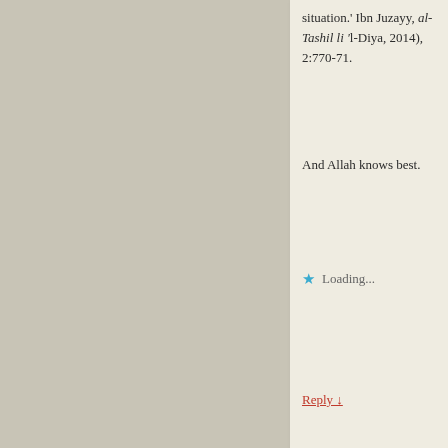situation.' Ibn Juzayy, al-Tashil li 'l-Diya, 2014), 2:770-71.
And Allah knows best.
Loading...
Reply ↓
Leave a Reply
Enter your comment here...